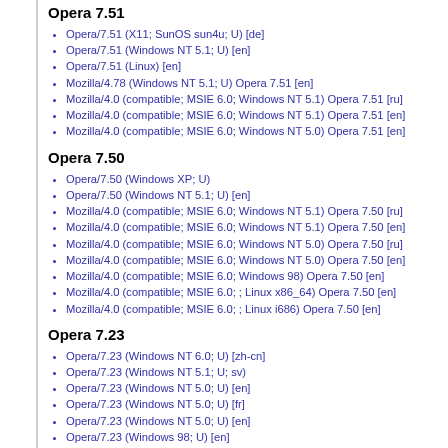Opera 7.51
Opera/7.51 (X11; SunOS sun4u; U) [de]
Opera/7.51 (Windows NT 5.1; U) [en]
Opera/7.51 (Linux) [en]
Mozilla/4.78 (Windows NT 5.1; U) Opera 7.51 [en]
Mozilla/4.0 (compatible; MSIE 6.0; Windows NT 5.1) Opera 7.51 [ru]
Mozilla/4.0 (compatible; MSIE 6.0; Windows NT 5.1) Opera 7.51 [en]
Mozilla/4.0 (compatible; MSIE 6.0; Windows NT 5.0) Opera 7.51 [en]
Opera 7.50
Opera/7.50 (Windows XP; U)
Opera/7.50 (Windows NT 5.1; U) [en]
Mozilla/4.0 (compatible; MSIE 6.0; Windows NT 5.1) Opera 7.50 [ru]
Mozilla/4.0 (compatible; MSIE 6.0; Windows NT 5.1) Opera 7.50 [en]
Mozilla/4.0 (compatible; MSIE 6.0; Windows NT 5.0) Opera 7.50 [ru]
Mozilla/4.0 (compatible; MSIE 6.0; Windows NT 5.0) Opera 7.50 [en]
Mozilla/4.0 (compatible; MSIE 6.0; Windows 98) Opera 7.50 [en]
Mozilla/4.0 (compatible; MSIE 6.0; ; Linux x86_64) Opera 7.50 [en]
Mozilla/4.0 (compatible; MSIE 6.0; ; Linux i686) Opera 7.50 [en]
Opera 7.23
Opera/7.23 (Windows NT 6.0; U) [zh-cn]
Opera/7.23 (Windows NT 5.1; U; sv)
Opera/7.23 (Windows NT 5.0; U) [en]
Opera/7.23 (Windows NT 5.0; U) [fr]
Opera/7.23 (Windows NT 5.0; U) [en]
Opera/7.23 (Windows 98; U) [en]
Mozilla/4.0 (compatible; MSIE 6.0; X11; Linux i686) Opera 7.23 [fi]
Mozilla/4.0 (compatible; MSIE 6.0; Windows NT 5.1) Opera 7.23 [ru]
Mozilla/4.0 (compatible; MSIE 6.0; Windows NT 5.1) Opera 7.23 [ru]
Mozilla/4.0 (compatible; MSIE 6.0; Windows NT 5.1) Opera 7.23 [en]
Mozilla/4.0 (compatible; MSIE 6.0; Windows NT 5.1) Opera 7.23 [en-GB]
Mozilla/4.0 (compatible; MSIE 6.0; Windows NT 5.1) Opera 7.23 [de]
Mozilla/4.0 (compatible; MSIE 6.0; Windows NT 5.0) Opera 7.23 [en]